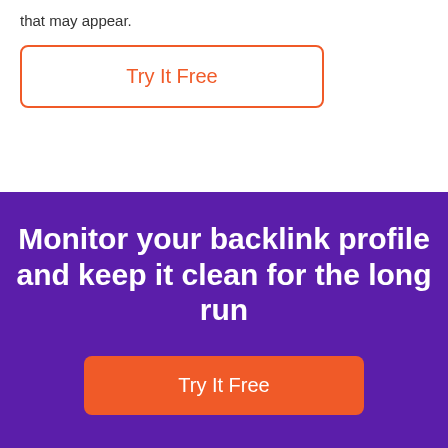that may appear.
Try It Free
Monitor your backlink profile and keep it clean for the long run
Try It Free